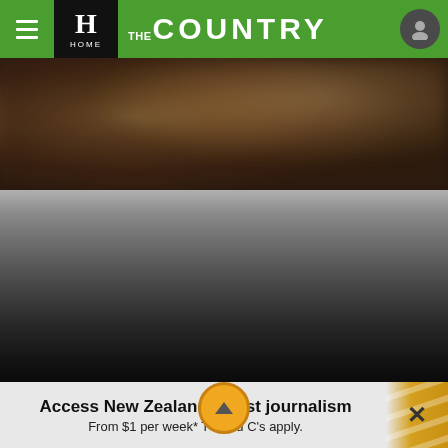THE COUNTRY — HOME
[Figure (photo): Blurred dark brown background image, hero photo area]
[Figure (photo): Dark grey to black gradient area, lower portion of background image]
Access New Zealand's best journalism
From $1 per week* T's and C's apply.